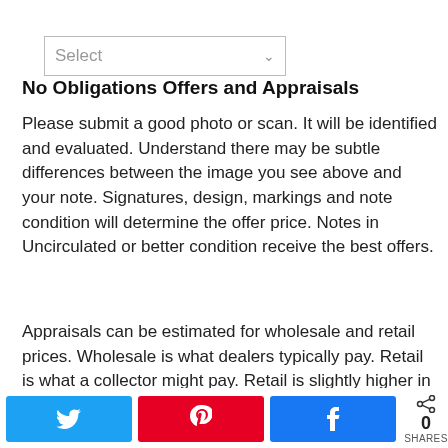[Figure (other): Dropdown select input box with placeholder text 'Select' and a chevron arrow on the right]
No Obligations Offers and Appraisals
Please submit a good photo or scan. It will be identified and evaluated. Understand there may be subtle differences between the image you see above and your note. Signatures, design, markings and note condition will determine the offer price. Notes in Uncirculated or better condition receive the best offers.
Appraisals can be estimated for wholesale and retail prices. Wholesale is what dealers typically pay. Retail is what a collector might pay. Retail is slightly higher in most cases
0 SHARES [Twitter share button] [Pinterest share button] [Facebook share button]